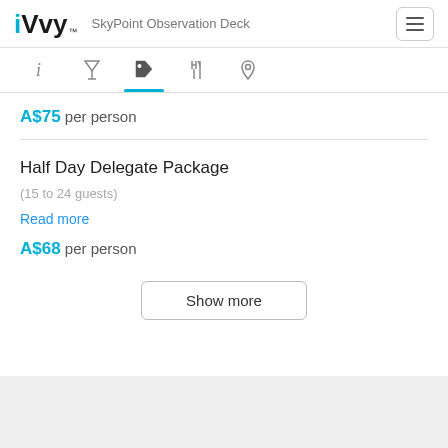iVvy — SkyPoint Observation Deck
A$75 per person
Half Day Delegate Package
(15 to 24 guests)
Read more
A$68 per person
Show more